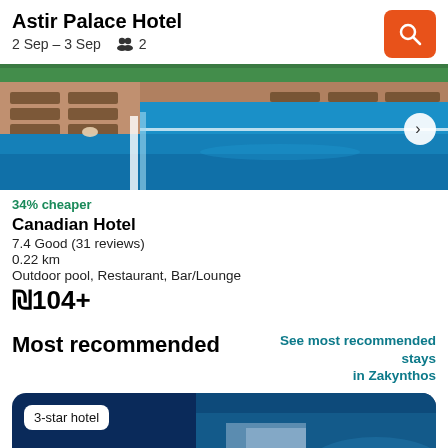Astir Palace Hotel
2 Sep – 3 Sep   👥 2
[Figure (photo): Outdoor swimming pool with lounge chairs, blue water, surrounded by a terrace area]
34% cheaper
Canadian Hotel
7.4 Good (31 reviews)
0.22 km
Outdoor pool, Restaurant, Bar/Lounge
₪104+
Most recommended
See most recommended stays in Zakynthos
[Figure (photo): 3-star hotel card with dark blue background showing partial hotel image]